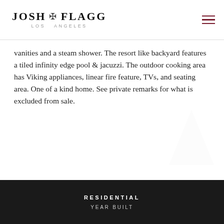JOSH F FLAGG LOS ANGELES
vanities and a steam shower. The resort like backyard features a tiled infinity edge pool & jacuzzi. The outdoor cooking area has Viking appliances, linear fire feature, TVs, and seating area. One of a kind home. See private remarks for what is excluded from sale.
RESIDENTIAL
YEAR BUILT